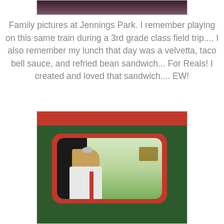[Figure (photo): Top portion of a photo at Jennings Park, partially cropped, showing a dark/indoor train interior at the top of page]
Family pictures at Jennings Park. I remember playing on this same train during a 3rd grade class field trip.... I also remember my lunch that day was a velvetta, taco bell sauce, and refried bean sandwich... For Reals! I created and loved that sandwich.... EW!
[Figure (photo): Photo of a young girl with long blonde hair and a bow, looking out the red-framed rectangular window of a green train car at Jennings Park. A park bench is visible outside in the background.]